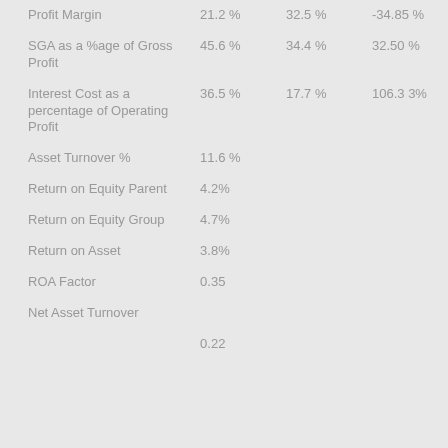|  | Col1 | Col2 | Col3 |
| --- | --- | --- | --- |
| Profit Margin | 21.2 % | 32.5 % | -34.85 % |
| SGA as a %age of Gross Profit | 45.6 % | 34.4 % | 32.50 % |
| Interest Cost as a percentage of Operating Profit | 36.5 % | 17.7 % | 106.33% |
| Asset Turnover % | 11.6 % |  |  |
| Return on Equity Parent | 4.2% |  |  |
| Return on Equity Group | 4.7% |  |  |
| Return on Asset | 3.8% |  |  |
| ROA Factor | 0.35 |  |  |
| Net Asset Turnover |  |  |  |
|  | 0.22 |  |  |